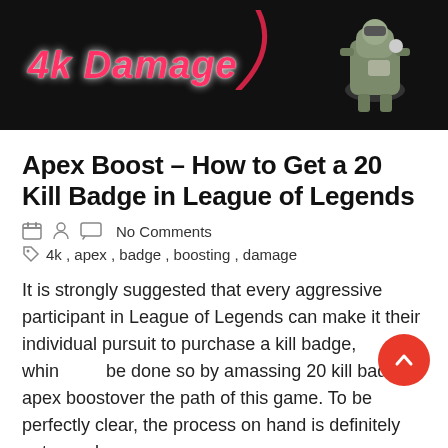[Figure (screenshot): Dark banner image showing '4k Damage' text in pink/red bold italic font with a game character on the right side]
Apex Boost – How to Get a 20 Kill Badge in League of Legends
No Comments
4k , apex , badge , boosting , damage
It is strongly suggested that every aggressive participant in League of Legends can make it their individual pursuit to purchase a kill badge, which can be done so by amassing 20 kill badge apex boostover the path of this game. To be perfectly clear, the process on hand is definitely not easy by